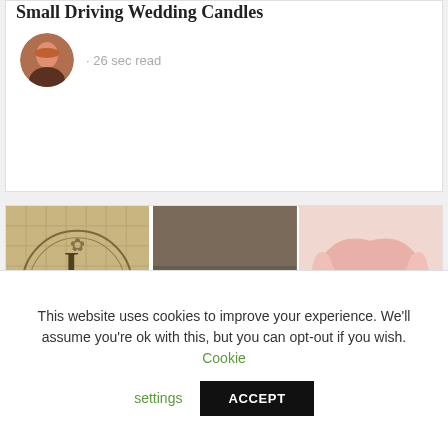Small Driving Wedding Candles
· 26 sec read
[Figure (photo): Three-panel article image: left panel shows a burlap/canvas bag with decorative stamp text 'Gifts for Weddings Special'; center panel shows a black dog lying next to a baby in plaid clothing on a carpet; right panel shows a close-up of a soft pink rose.]
Personalized Picture Candles
· 28 sec read
This website uses cookies to improve your experience. We'll assume you're ok with this, but you can opt-out if you wish. Cookie settings ACCEPT